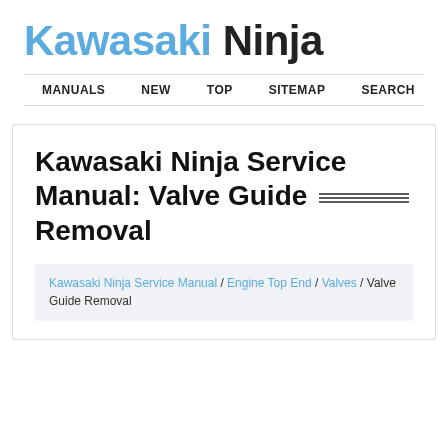Kawasaki Ninja
MANUALS  NEW  TOP  SITEMAP  SEARCH
Kawasaki Ninja Service Manual: Valve Guide Removal
Kawasaki Ninja Service Manual / Engine Top End / Valves / Valve Guide Removal